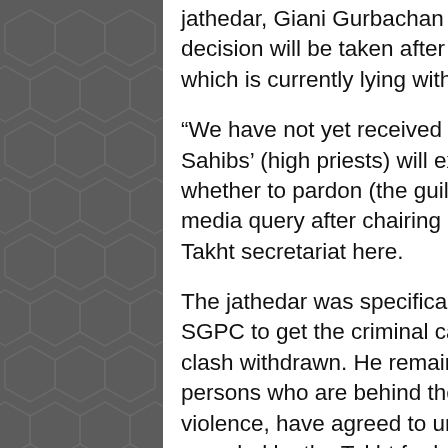jathedar, Giani Gurbachan Singh, here on Friday when he said that a decision will be taken after going through the report of the panel, which is currently lying with SGPC chief Avtar Singh Makkar.
“We have not yet received the report. When we get it, the ‘Singh Sahibs’ (high priests) will examine it and then take a decision on whether to pardon (the guilty)”, the jathedar said while replying to a media query after chairing a meeting of the high priests at the Akal Takht secretariat here.
The jathedar was specifically asked whether he would direct the SGPC to get the criminal cases filed against those involved in the clash withdrawn. He remained evasive when pointed out that the 22 persons who are behind the bars for their involvement in the June 6 violence, have agreed to undergo religious punishment that is awarded by the Takht for having breached the ‘maryada’